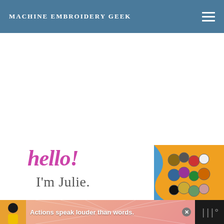MACHINE EMBROIDERY GEEK
[Figure (screenshot): Website banner section showing 'hello! I'm Julie.' text in pink italic and gray, alongside a photo of embroidery thread spools on an orange background with blue curved design element]
[Figure (infographic): Advertisement banner at bottom with person figure, pink sunburst background, text 'Actions speak louder than words.' with close button and logo]